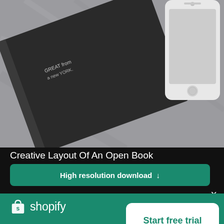[Figure (photo): Photo of a dark book/notebook and a white smartphone on a gray marble surface, viewed from above. The top portion of the image is shown.]
Creative Layout Of An Open Book
High resolution download ↓
×
[Figure (logo): Shopify logo: white shopping bag icon with letter 's' inside, followed by 'shopify' text in white]
Need an online store for your business?
Start free trial